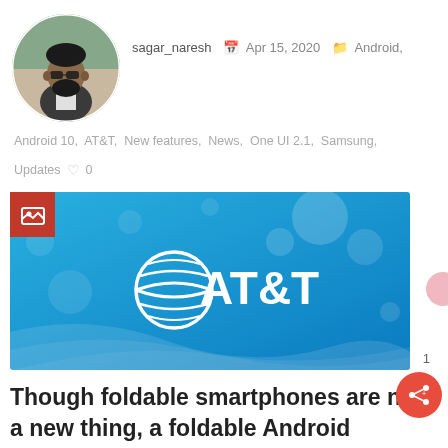[Figure (photo): Circular avatar photo of sagar_naresh — a bearded man wearing sunglasses outdoors]
sagar_naresh  Apr 15, 2020  Android,
Android 10, AT&T, New features, News, One UI 2.1, Samsung,
Updates  ♡0
[Figure (photo): AT&T logo on a blue gradient background with bokeh circles and wave patterns. Red gallery badge in top-left corner.]
Though foldable smartphones are not a new thing, a foldable Android